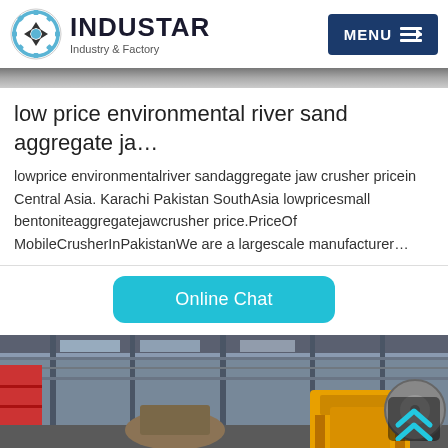INDUSTAR — Industry & Factory | MENU
low price environmental river sand aggregate ja…
lowprice environmentalriver sandaggregate jaw crusher pricein Central Asia. Karachi Pakistan SouthAsia lowpricesmall bentoniteaggregatejawcrusher price.PriceOf MobileCrusherInPakistanWe are a largescale manufacturer…
[Figure (other): Online Chat button (cyan rounded rectangle)]
[Figure (photo): Industrial factory interior showing ceiling structure, red shelving, large yellow jaw crusher machinery, and cable reels]
Email | OnlineChat | Message